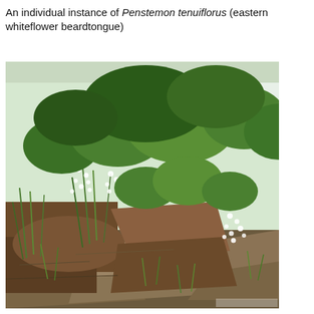An individual instance of Penstemon tenuiflorus (eastern whiteflower beardtongue)
[Figure (photo): Photograph of Penstemon tenuiflorus (eastern whiteflower beardtongue) growing on a rocky hillside slope. The plant displays white flowers among green grasses and shrubs, with exposed layered sandstone rocks and brown soil visible. Leafy green trees are visible in the background.]